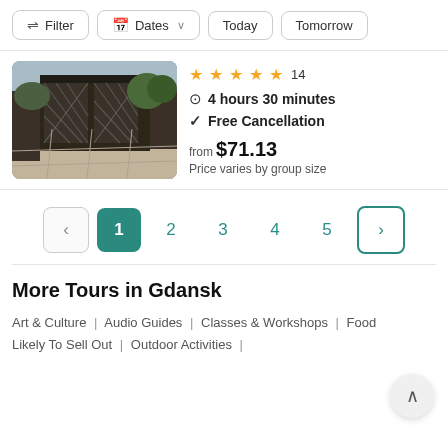[Figure (screenshot): Filter/navigation bar with Filter, Dates, Today, Tomorrow buttons]
[Figure (photo): Photo of a dark metal gate/fence structure at an outdoor historical site with trees in the background]
★★★★★ 14
⏱ 4 hours 30 minutes
✓ Free Cancellation
from $71.13
Price varies by group size
[Figure (other): Pagination controls: prev arrow, page 1 (active/teal), 2, 3, 4, 5, next arrow]
More Tours in Gdansk
Art & Culture | Audio Guides | Classes & Workshops | Food
Likely To Sell Out | Outdoor Activities |